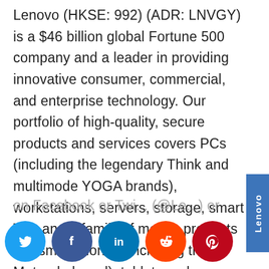Lenovo (HKSE: 992) (ADR: LNVGY) is a $46 billion global Fortune 500 company and a leader in providing innovative consumer, commercial, and enterprise technology. Our portfolio of high-quality, secure products and services covers PCs (including the legendary Think and multimode YOGA brands), workstations, servers, storage, smart TVs and a family of mobile products like smartphones (including the Motorola brand), tablets and apps. Join us on LinkedIn, follow us on Facebook or Twitter (@Lenovo) or visit us at www.lenovo.com.
[Figure (logo): Lenovo vertical sidebar logo in blue]